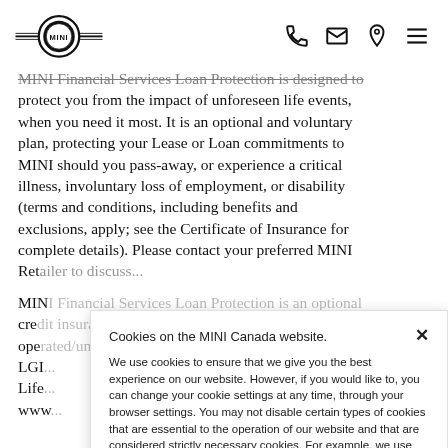MINI logo and navigation icons (phone, email, location, menu)
MINI Financial Services Loan Protection is designed to protect you from the impact of unforeseen life events, when you need it most. It is an optional and voluntary plan, protecting your Lease or Loan commitments to MINI should you pass-away, or experience a critical illness, involuntary loss of employment, or disability (terms and conditions, including benefits and exclusions, apply; see the Certificate of Insurance for complete details). Please contact your preferred MINI Ret[ailer to discuss...]
MIN[I Financial Services Loan Protection is an optional] cre[dit insurance product] ope[rated/underwritten] by LGI[...] Life[...] www[...]
Cookies on the MINI Canada website.
We use cookies to ensure that we give you the best experience on our website. However, if you would like to, you can change your cookie settings at any time, through your browser settings. You may not disable certain types of cookies that are essential to the operation of our website and that are considered strictly necessary cookies. For example, we use strictly necessary cookies to provide you with regional pricing information. You can find detailed information about how cookies are used on this website by clicking here.